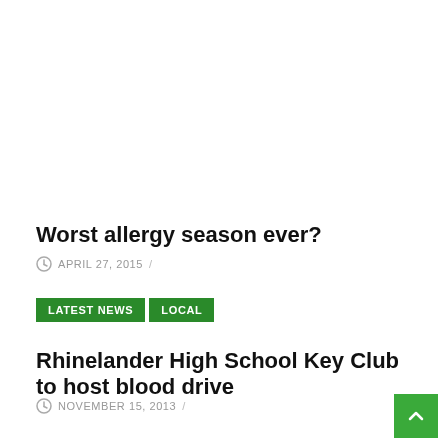Worst allergy season ever?
APRIL 27, 2015 /
LATEST NEWS   LOCAL
Rhinelander High School Key Club to host blood drive
NOVEMBER 15, 2013 /